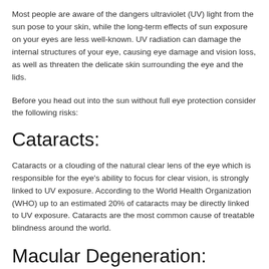Most people are aware of the dangers ultraviolet (UV) light from the sun pose to your skin, while the long-term effects of sun exposure on your eyes are less well-known. UV radiation can damage the internal structures of your eye, causing eye damage and vision loss, as well as threaten the delicate skin surrounding the eye and the lids.
Before you head out into the sun without full eye protection consider the following risks:
Cataracts:
Cataracts or a clouding of the natural clear lens of the eye which is responsible for the eye's ability to focus for clear vision, is strongly linked to UV exposure. According to the World Health Organization (WHO) up to an estimated 20% of cataracts may be directly linked to UV exposure. Cataracts are the most common cause of treatable blindness around the world.
Macular Degeneration: